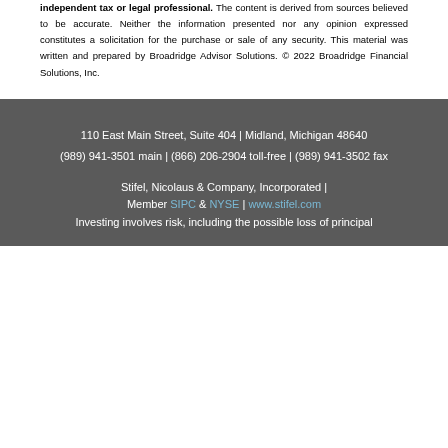independent tax or legal professional. The content is derived from sources believed to be accurate. Neither the information presented nor any opinion expressed constitutes a solicitation for the purchase or sale of any security. This material was written and prepared by Broadridge Advisor Solutions. © 2022 Broadridge Financial Solutions, Inc.
110 East Main Street, Suite 404 | Midland, Michigan 48640
(989) 941-3501 main | (866) 206-2904 toll-free | (989) 941-3502 fax

Stifel, Nicolaus & Company, Incorporated | Member SIPC & NYSE | www.stifel.com
Investing involves risk, including the possible loss of principal